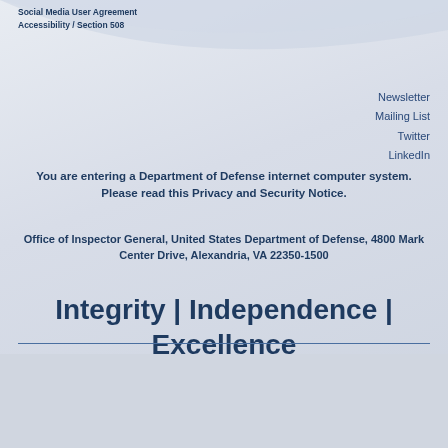Social Media User Agreement
Accessibility / Section 508
Newsletter
Mailing List
Twitter
LinkedIn
You are entering a Department of Defense internet computer system. Please read this Privacy and Security Notice.
Office of Inspector General, United States Department of Defense, 4800 Mark Center Drive, Alexandria, VA 22350-1500
Integrity | Independence | Excellence